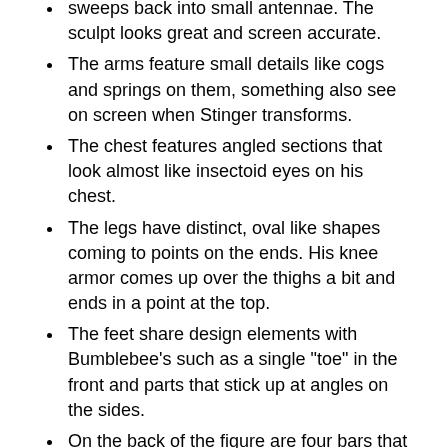sweeps back into small antennae. The sculpt looks great and screen accurate.
The arms feature small details like cogs and springs on them, something also see on screen when Stinger transforms.
The chest features angled sections that look almost like insectoid eyes on his chest.
The legs have distinct, oval like shapes coming to points on the ends. His knee armor comes up over the thighs a bit and ends in a point at the top.
The feet share design elements with Bumblebee's such as a single "toe" in the front and parts that stick up at angles on the sides.
On the back of the figure are four bars that end in 5mm pegs. These are designed to hold his star weapons. This is seen on his back in the film.
Overall Stinger looks good, but there are a couple of design elements I am not fond of. First, the headlight sections of the car mode wind up on the back of his shoulders and they just kind of sit there and don't look particularly great. The one design choice that bugs me however is found on the right arm. There you will see a large chunk of the vehicle mode's cabin section cover folded up. Now, at first I thought this was a cool way to work in an arm/weapon transformation of sorts. Unfortunately this piece does not have the hinge required to have the canopy cover parts